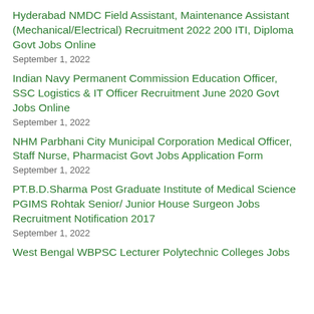Hyderabad NMDC Field Assistant, Maintenance Assistant (Mechanical/Electrical) Recruitment 2022 200 ITI, Diploma Govt Jobs Online
September 1, 2022
Indian Navy Permanent Commission Education Officer, SSC Logistics & IT Officer Recruitment June 2020 Govt Jobs Online
September 1, 2022
NHM Parbhani City Municipal Corporation Medical Officer, Staff Nurse, Pharmacist Govt Jobs Application Form
September 1, 2022
PT.B.D.Sharma Post Graduate Institute of Medical Science PGIMS Rohtak Senior/ Junior House Surgeon Jobs Recruitment Notification 2017
September 1, 2022
West Bengal WBPSC Lecturer Polytechnic Colleges Jobs